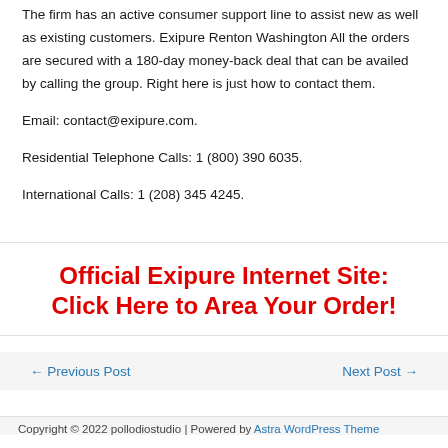The firm has an active consumer support line to assist new as well as existing customers. Exipure Renton Washington All the orders are secured with a 180-day money-back deal that can be availed by calling the group. Right here is just how to contact them.
Email: contact@exipure.com.
Residential Telephone Calls: 1 (800) 390 6035.
International Calls: 1 (208) 345 4245.
Official Exipure Internet Site: Click Here to Area Your Order!
← Previous Post   Next Post →
Copyright © 2022 pollodiostudio | Powered by Astra WordPress Theme